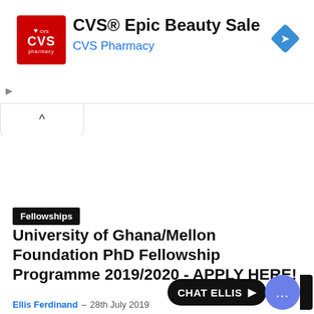[Figure (screenshot): CVS Pharmacy advertisement banner with red CVS logo, text 'CVS® Epic Beauty Sale' and 'CVS Pharmacy' in blue, and a blue navigation diamond icon on the right]
Fellowships
University of Ghana/Mellon Foundation PhD Fellowship Programme 2019/2020 - APPLY HERE!
Ellis Ferdinand  –  28th July 2019
CHAT ELLIS